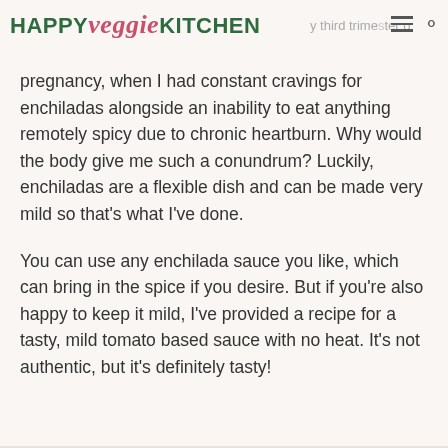HAPPY veggie KITCHEN · my third trimester of pregnancy, when I had constant cravings for
pregnancy, when I had constant cravings for enchiladas alongside an inability to eat anything remotely spicy due to chronic heartburn. Why would the body give me such a conundrum? Luckily, enchiladas are a flexible dish and can be made very mild so that's what I've done.
You can use any enchilada sauce you like, which can bring in the spice if you desire. But if you're also happy to keep it mild, I've provided a recipe for a tasty, mild tomato based sauce with no heat. It's not authentic, but it's definitely tasty!